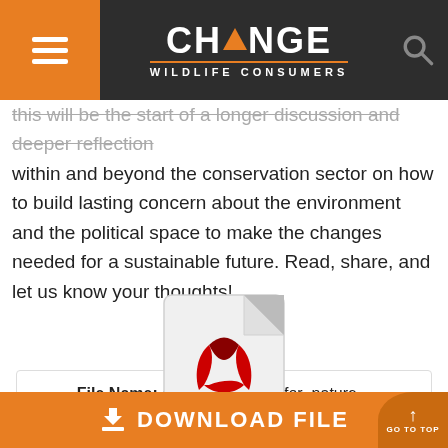[Figure (screenshot): Change Wildlife Consumers website header with orange hamburger menu area on left, logo in center showing CHANGE with orange triangle replacing the A, WILDLIFE CONSUMERS subtitle, and search icon on right, all on dark background]
this will be the start of a longer discussion and deeper reflection within and beyond the conservation sector on how to build lasting concern about the environment and the political space to make the changes needed for a sustainable future. Read, share, and let us know your thoughts!
[Figure (illustration): PDF file icon with red Adobe Acrobat symbol and PDF label]
File Name: common_cause_for_nature_-_practitioners_
File Size: 11.39 MB
DOWNLOAD FILE